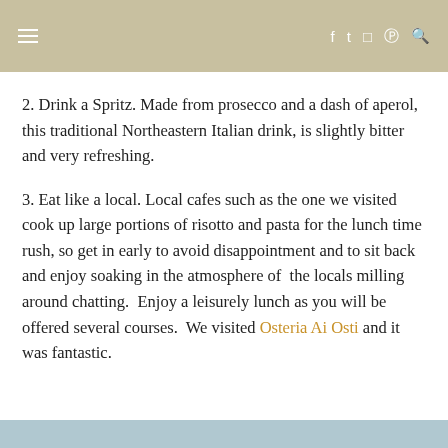≡  f  t  ☊  ℗  🔍
2. Drink a Spritz. Made from prosecco and a dash of aperol, this traditional Northeastern Italian drink, is slightly bitter and very refreshing.
3. Eat like a local. Local cafes such as the one we visited cook up large portions of risotto and pasta for the lunch time rush, so get in early to avoid disappointment and to sit back and enjoy soaking in the atmosphere of  the locals milling around chatting.  Enjoy a leisurely lunch as you will be offered several courses.  We visited Osteria Ai Osti and it was fantastic.
[Figure (photo): Partial image strip visible at the bottom of the page]